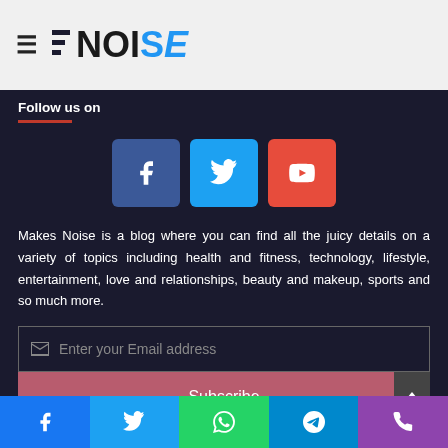Makes Noise logo and hamburger menu
Follow us on
[Figure (infographic): Three social media icon buttons: Facebook (blue), Twitter (cyan), YouTube (red)]
Makes Noise is a blog where you can find all the juicy details on a variety of topics including health and fitness, technology, lifestyle, entertainment, love and relationships, beauty and makeup, sports and so much more.
Enter your Email address
Subscribe
Social share bar: Facebook, Twitter, WhatsApp, Telegram, Phone